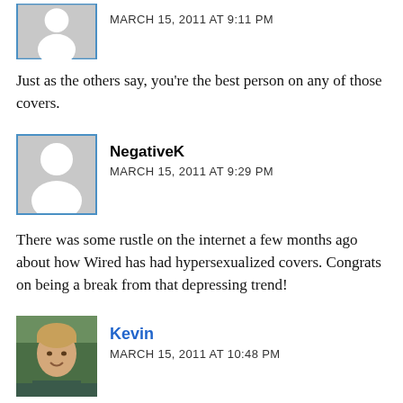[Figure (illustration): Grey placeholder avatar with white person silhouette, blue border, partially cut off at top]
MARCH 15, 2011 AT 9:11 PM
Just as the others say, you're the best person on any of those covers.
[Figure (illustration): Grey placeholder avatar with white person silhouette, blue border]
NegativeK
MARCH 15, 2011 AT 9:29 PM
There was some rustle on the internet a few months ago about how Wired has had hypersexualized covers. Congrats on being a break from that depressing trend!
[Figure (photo): Photo of a smiling young man with short blond hair outdoors with trees in background]
Kevin
MARCH 15, 2011 AT 10:48 PM